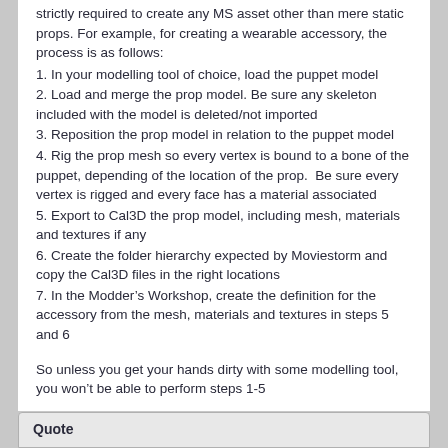strictly required to create any MS asset other than mere static props. For example, for creating a wearable accessory, the process is as follows:
1. In your modelling tool of choice, load the puppet model
2. Load and merge the prop model. Be sure any skeleton included with the model is deleted/not imported
3. Reposition the prop model in relation to the puppet model
4. Rig the prop mesh so every vertex is bound to a bone of the puppet, depending of the location of the prop.  Be sure every vertex is rigged and every face has a material associated
5. Export to Cal3D the prop model, including mesh, materials and textures if any
6. Create the folder hierarchy expected by Moviestorm and copy the Cal3D files in the right locations
7. In the Modder's Workshop, create the definition for the accessory from the mesh, materials and textures in steps 5 and 6
So unless you get your hands dirty with some modelling tool, you won't be able to perform steps 1-5
Quote